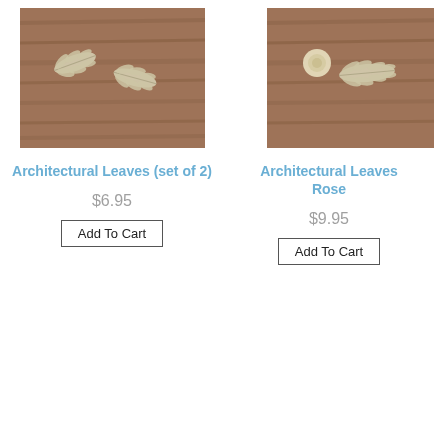[Figure (photo): Product photo of Architectural Leaves (set of 2) - two silver leaf sprigs on a wood background]
Architectural Leaves (set of 2)
$6.95
[Figure (photo): Product photo of Architectural Leaves with Rose - silver leaf sprig with rose on a wood background, partially cropped]
Architectural Leaves Rose
$9.95